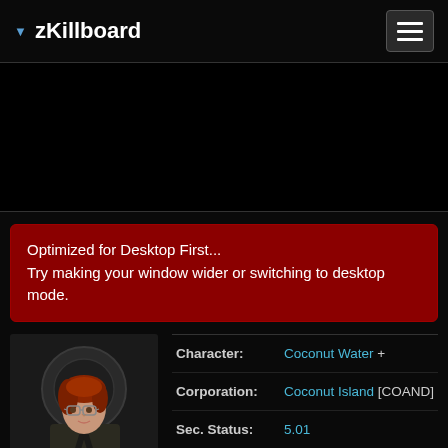zKillboard
[Figure (other): Dark advertisement/placeholder area]
Optimized for Desktop First...
Try making your window wider or switching to desktop mode.
[Figure (photo): Character portrait of a female character with red hair and glasses, wearing a dark jacket. EVE Online game character.]
| Field | Value |
| --- | --- |
| Character: | Coconut Water + |
| Corporation: | Coconut Island [COAND] |
| Sec. Status: | 5.01 |
| Trophies: | 150 / 505 |